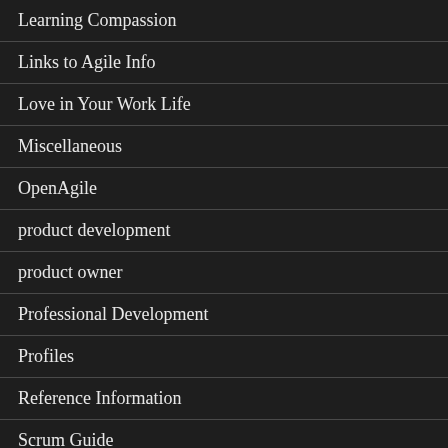Learning Compassion
Links to Agile Info
Love in Your Work Life
Miscellaneous
OpenAgile
product development
product owner
Professional Development
Profiles
Reference Information
Scrum Guide
Scrum Master
scrum team improvement